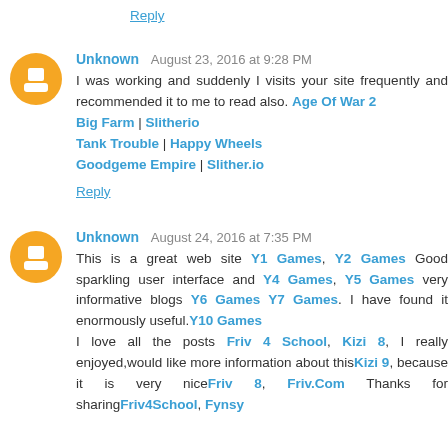Reply
Unknown August 23, 2016 at 9:28 PM
I was working and suddenly I visits your site frequently and recommended it to me to read also. Age Of War 2
Big Farm | Slitherio
Tank Trouble | Happy Wheels
Goodgeme Empire | Slither.io
Reply
Unknown August 24, 2016 at 7:35 PM
This is a great web site Y1 Games, Y2 Games Good sparkling user interface and Y4 Games, Y5 Games very informative blogs Y6 Games Y7 Games. I have found it enormously useful.Y10 Games
I love all the posts Friv 4 School, Kizi 8, I really enjoyed,would like more information about thisKizi 9, because it is very niceFriv 8, Friv.Com Thanks for sharingFriv4School, Fynsy